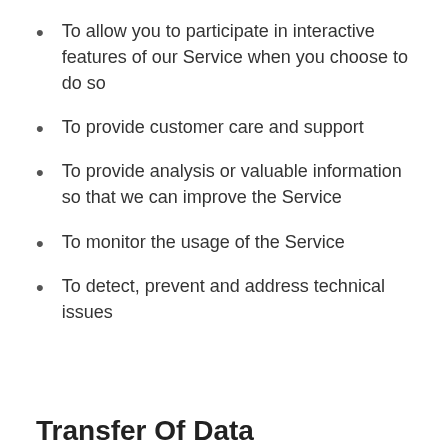To allow you to participate in interactive features of our Service when you choose to do so
To provide customer care and support
To provide analysis or valuable information so that we can improve the Service
To monitor the usage of the Service
To detect, prevent and address technical issues
Transfer Of Data